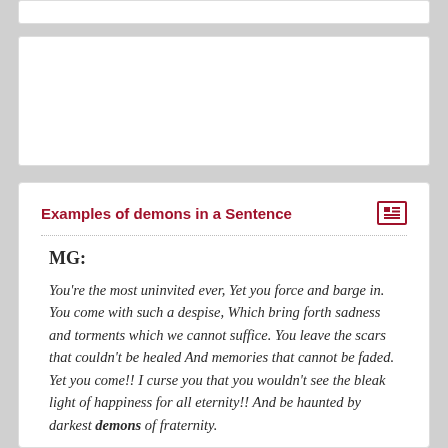Examples of demons in a Sentence
MG:
You're the most uninvited ever, Yet you force and barge in. You come with such a despise, Which bring forth sadness and torments which we cannot suffice. You leave the scars that couldn't be healed And memories that cannot be faded. Yet you come!! I curse you that you wouldn't see the bleak light of happiness for all eternity!! And be haunted by darkest demons of fraternity.
Brandon Garic Notch:
Sometimes the hardest battle only exists within